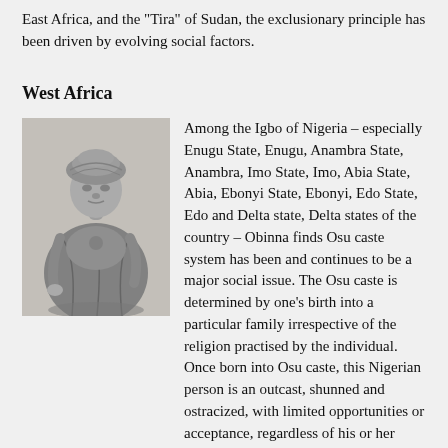East Africa, and the "Tira" of Sudan, the exclusionary principle has been driven by evolving social factors.
West Africa
[Figure (photo): Black and white engraving/illustration of a seated figure wearing robes and a turban, likely a historical depiction of a West African or Nigerian person.]
Among the Igbo of Nigeria – especially Enugu State, Enugu, Anambra State, Anambra, Imo State, Imo, Abia State, Abia, Ebonyi State, Ebonyi, Edo State, Edo and Delta state, Delta states of the country – Obinna finds Osu caste system has been and continues to be a major social issue. The Osu caste is determined by one's birth into a particular family irrespective of the religion practised by the individual. Once born into Osu caste, this Nigerian person is an outcast, shunned and ostracized, with limited opportunities or acceptance, regardless of his or her ability or merit. Obinna discusses how this caste system-related identity and power is deployed within government, Church and indigenous communities. The "osu" class systems of eastern Nigeria and southern Cameroon are derived